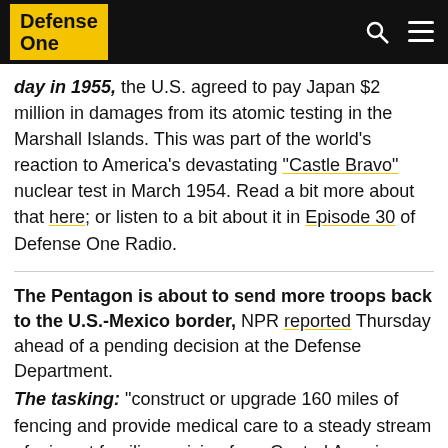Defense One
day in 1955, the U.S. agreed to pay Japan $2 million in damages from its atomic testing in the Marshall Islands. This was part of the world's reaction to America's devastating “Castle Bravo” nuclear test in March 1954. Read a bit more about that here; or listen to a bit about it in Episode 30 of Defense One Radio.
The Pentagon is about to send more troops back to the U.S.-Mexico border, NPR reported Thursday ahead of a pending decision at the Defense Department. The tasking: “construct or upgrade 160 miles of fencing and provide medical care to a steady stream of migrant families arriving from Central America, according to military sources,” NPR writes. “A senior military official said the new request could include